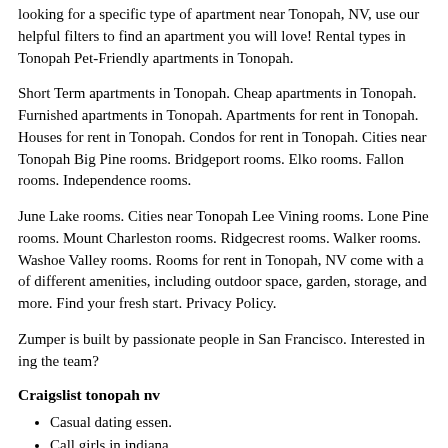looking for a specific type of apartment near Tonopah, NV, use our helpful filters to find an apartment you will love! Rental types in Tonopah Pet-Friendly apartments in Tonopah.
Short Term apartments in Tonopah. Cheap apartments in Tonopah. Furnished apartments in Tonopah. Apartments for rent in Tonopah. Houses for rent in Tonopah. Condos for rent in Tonopah. Cities near Tonopah Big Pine rooms. Bridgeport rooms. Elko rooms. Fallon rooms. Independence rooms.
June Lake rooms. Cities near Tonopah Lee Vining rooms. Lone Pine rooms. Mount Charleston rooms. Ridgecrest rooms. Walker rooms. Washoe Valley rooms. Rooms for rent in Tonopah, NV come with a of different amenities, including outdoor space, garden, storage, and more. Find your fresh start. Privacy Policy.
Zumper is built by passionate people in San Francisco. Interested in ing the team?
Craigslist tonopah nv
Casual dating essen.
Call girls in indiana.
Perhaps a pussy pleasuring need ur nipples nibbled.
Couger women in Chattanooga Tennessee fucking.
Free stuff west palm beach.